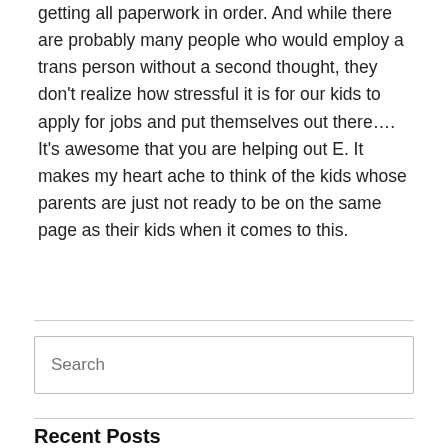getting all paperwork in order. And while there are probably many people who would employ a trans person without a second thought, they don't realize how stressful it is for our kids to apply for jobs and put themselves out there…. It's awesome that you are helping out E. It makes my heart ache to think of the kids whose parents are just not ready to be on the same page as their kids when it comes to this.
Search
Recent Posts